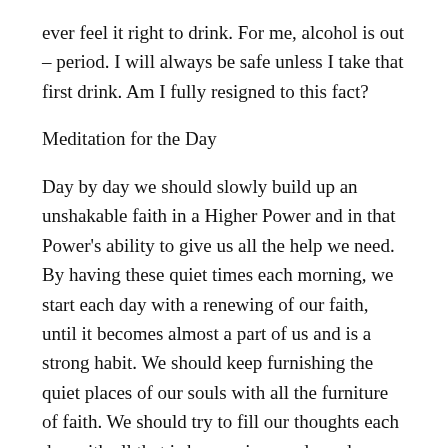ever feel it right to drink. For me, alcohol is out – period. I will always be safe unless I take that first drink. Am I fully resigned to this fact?
Meditation for the Day
Day by day we should slowly build up an unshakable faith in a Higher Power and in that Power's ability to give us all the help we need. By having these quiet times each morning, we start each day with a renewing of our faith, until it becomes almost a part of us and is a strong habit. We should keep furnishing the quiet places of our souls with all the furniture of faith. We should try to fill our thoughts each day with all that is harmonious and good, beautiful and enduring.